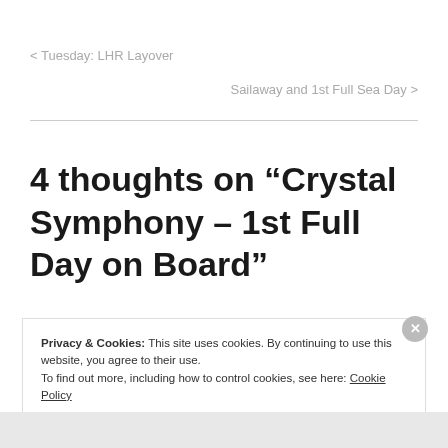< Tuesday: LHR Layover
Sailaway and 1st Full Sea Day >
4 thoughts on “Crystal Symphony – 1st Full Day on Board”
Privacy & Cookies: This site uses cookies. By continuing to use this website, you agree to their use.
To find out more, including how to control cookies, see here: Cookie Policy
Close and accept